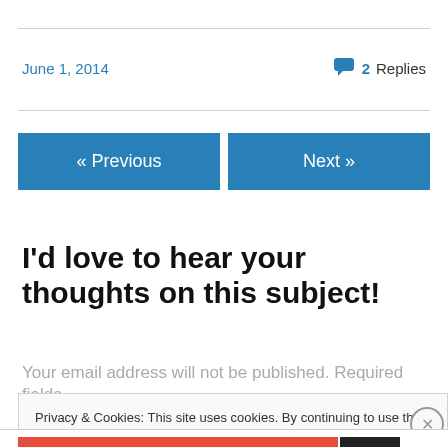June 1, 2014
2 Replies
« Previous
Next »
I'd love to hear your thoughts on this subject!
Your email address will not be published. Required fields
Privacy & Cookies: This site uses cookies. By continuing to use this website, you agree to their use.
To find out more, including how to control cookies, see here: Cookie Policy
Close and accept